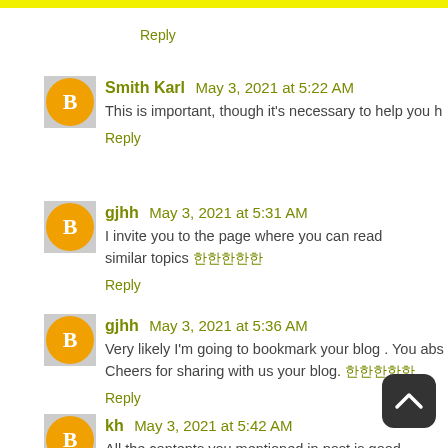Reply
Smith Karl  May 3, 2021 at 5:22 AM
This is important, though it's necessary to help you h
Reply
gjhh  May 3, 2021 at 5:31 AM
I invite you to the page where you can read similar topics 한국어
Reply
gjhh  May 3, 2021 at 5:36 AM
Very likely I'm going to bookmark your blog . You abs
Cheers for sharing with us your blog. 한국어
Reply
kh  May 3, 2021 at 5:42 AM
All the contents you mentioned in post is good
keep it in mind, thanks for sharing the information